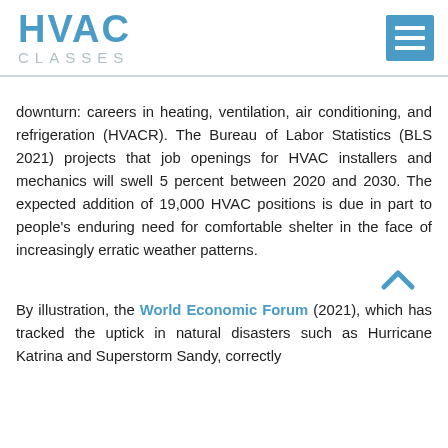HVAC CLASSES
downturn: careers in heating, ventilation, air conditioning, and refrigeration (HVACR). The Bureau of Labor Statistics (BLS 2021) projects that job openings for HVAC installers and mechanics will swell 5 percent between 2020 and 2030. The expected addition of 19,000 HVAC positions is due in part to people's enduring need for comfortable shelter in the face of increasingly erratic weather patterns.
By illustration, the World Economic Forum (2021), which has tracked the uptick in natural disasters such as Hurricane Katrina and Superstorm Sandy, correctly